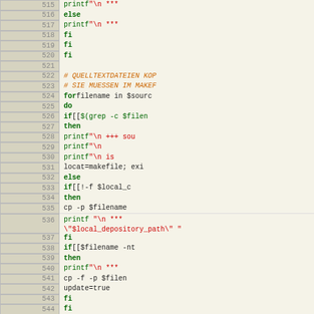Source code listing, lines 515-545, shell script with line numbers